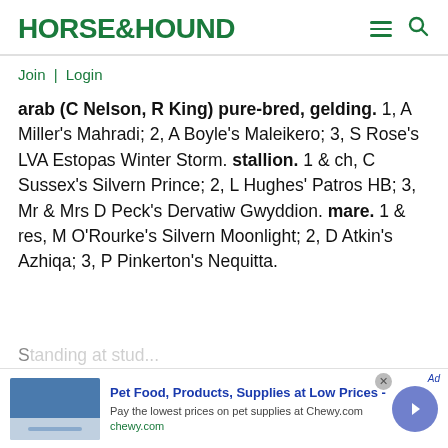HORSE&HOUND
Join | Login
arab (C Nelson, R King) pure-bred, gelding. 1, A Miller's Mahradi; 2, A Boyle's Maleikero; 3, S Rose's LVA Estopas Winter Storm. stallion. 1 & ch, C Sussex's Silvern Prince; 2, L Hughes' Patros HB; 3, Mr & Mrs D Peck's Dervatiw Gwyddion. mare. 1 & res, M O'Rourke's Silvern Moonlight; 2, D Atkin's Azhiqa; 3, P Pinkerton's Nequitta.
[Figure (screenshot): Advertisement banner: Pet Food, Products, Supplies at Low Prices - Chewy.com]